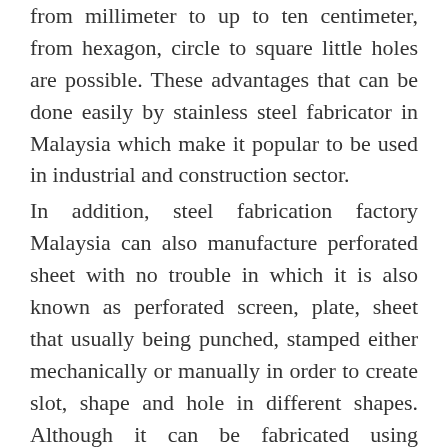from millimeter to up to ten centimeter, from hexagon, circle to square little holes are possible. These advantages that can be done easily by stainless steel fabricator in Malaysia which make it popular to be used in industrial and construction sector.
In addition, steel fabrication factory Malaysia can also manufacture perforated sheet with no trouble in which it is also known as perforated screen, plate, sheet that usually being punched, stamped either mechanically or manually in order to create slot, shape and hole in different shapes. Although it can be fabricated using different materials such as aluminium, plastic, copper but vet steel such as galvanized ste... ...lled steel and